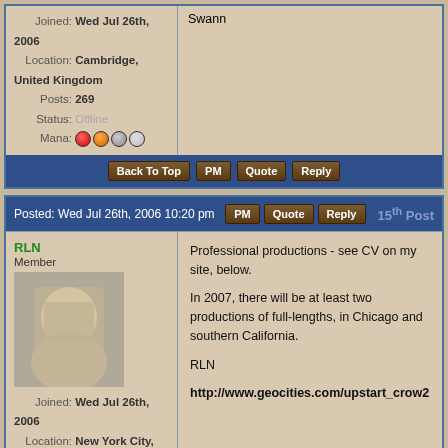| Joined: | Wed Jul 26th, 2006 |
| Location: | Cambridge, United Kingdom |
| Posts: | 269 |
| Status: | Offline |
| Mana: | icons |
Swann
Back To Top | PM | Quote | Reply
Posted: Wed Jul 26th, 2006 10:20 pm | PM | Quote | Reply | 15th Post
RLN
Member
[Figure (photo): User avatar photo for RLN]
| Joined: | Wed Jul 26th, 2006 |
| Location: | New York City, New York USA |
| Posts: | 33 |
| Status: | Offline |
| Mana: | icons |
Professional productions - see CV on my site, below.

In 2007, there will be at least two productions of full-lengths, in Chicago and southern California.

RLN

http://www.geocities.com/upstart_crow2
Back To Top | PM | Quote | Reply
Posted: Thu Jul 27th, 2006 11:58 am | PM | Quote | Reply | 16th Post